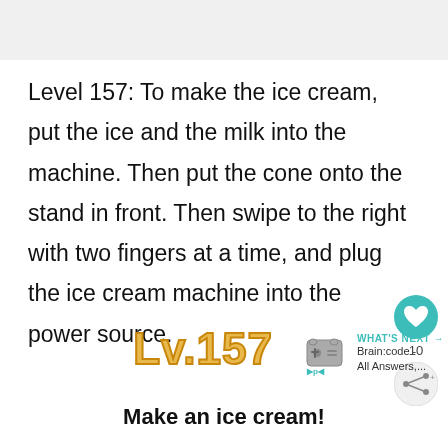Level 157: To make the ice cream, put the ice and the milk into the machine. Then put the cone onto the stand in front. Then swipe to the right with two fingers at a time, and plug the ice cream machine into the power source.
Lv.157
Make an ice cream!